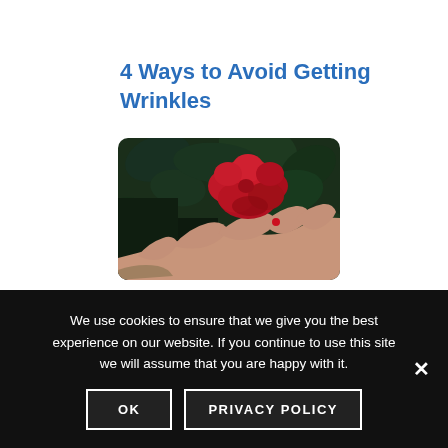4 Ways to Avoid Getting Wrinkles
[Figure (photo): A hand holding a red rose against a dark green leafy background. The hand has a small red nail or ring detail on one finger.]
We use cookies to ensure that we give you the best experience on our website. If you continue to use this site we will assume that you are happy with it.